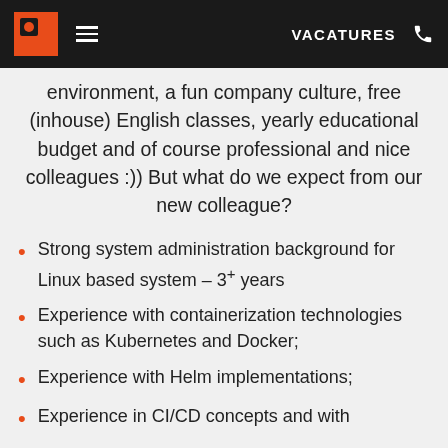VACATURES
environment, a fun company culture, free (inhouse) English classes, yearly educational budget and of course professional and nice colleagues :)) But what do we expect from our new colleague?
Strong system administration background for Linux based system – 3+ years
Experience with containerization technologies such as Kubernetes and Docker;
Experience with Helm implementations;
Experience in CI/CD concepts and with